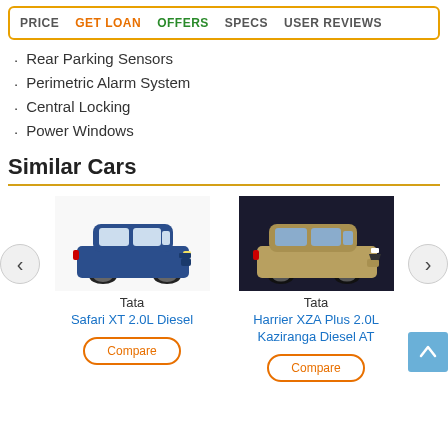PRICE  GET LOAN  OFFERS  SPECS  USER REVIEWS
Rear Parking Sensors
Perimetric Alarm System
Central Locking
Power Windows
Similar Cars
[Figure (photo): Blue Tata Safari SUV side view]
Tata
Safari XT 2.0L Diesel
[Figure (photo): Gold/beige Tata Harrier SUV front 3/4 view on dark background]
Tata
Harrier XZA Plus 2.0L Kaziranga Diesel AT